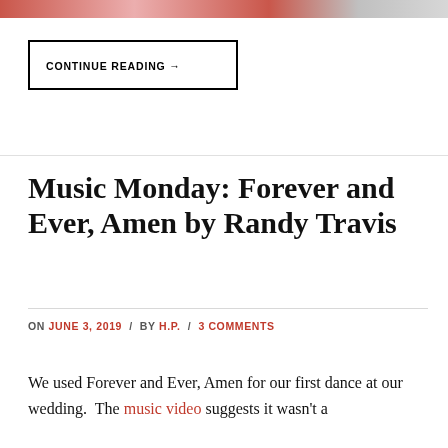[Figure (photo): Partial top image strip showing a decorative or photo banner at the very top of the page]
CONTINUE READING →
Music Monday: Forever and Ever, Amen by Randy Travis
ON JUNE 3, 2019 / BY H.P. / 3 COMMENTS
We used Forever and Ever, Amen for our first dance at our wedding.  The music video suggests it wasn't a terrible decision, but since I love this...